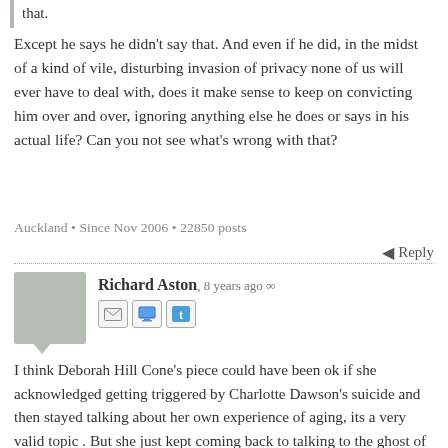that.
Except he says he didn't say that. And even if he did, in the midst of a kind of vile, disturbing invasion of privacy none of us will ever have to deal with, does it make sense to keep on convicting him over and over, ignoring anything else he does or says in his actual life? Can you not see what's wrong with that?
Auckland • Since Nov 2006 • 22850 posts
Reply
Richard Aston, 8 years ago ∞
I think Deborah Hill Cone's piece could have been ok if she acknowledged getting triggered by Charlotte Dawson's suicide and then stayed talking about her own experience of aging, its a very valid topic . But she just kept coming back to talking to the ghost of Charlotte , trying to do a Hamlet , almost hiding behind her and in the process her story lost its potency.